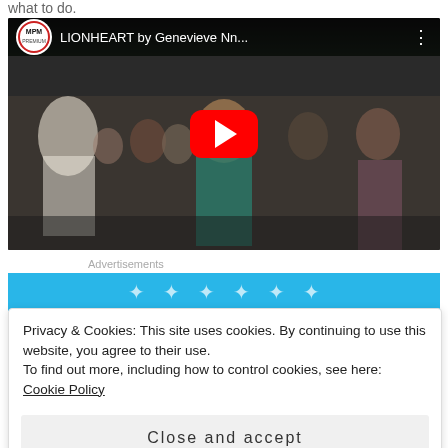what to do.
[Figure (screenshot): YouTube video thumbnail for 'LIONHEART by Genevieve Nn...' on MPM Premium channel. Dark background showing a crowd scene with a woman in a teal outfit in the foreground. Red YouTube play button centered on the video.]
Advertisements
[Figure (screenshot): Blue advertisement banner with decorative dots/sparkles.]
Privacy & Cookies: This site uses cookies. By continuing to use this website, you agree to their use.
To find out more, including how to control cookies, see here: Cookie Policy
Close and accept
[Figure (screenshot): Blue advertisement banner with text 'The only journaling']